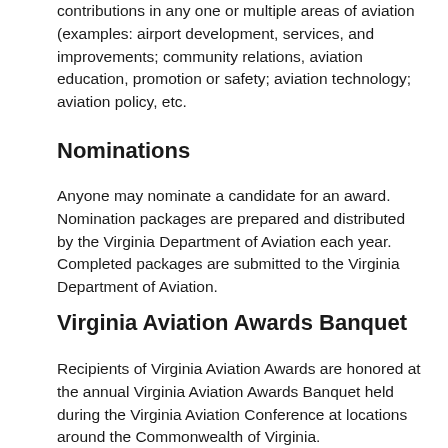contributions in any one or multiple areas of aviation (examples: airport development, services, and improvements; community relations, aviation education, promotion or safety; aviation technology; aviation policy, etc.
Nominations
Anyone may nominate a candidate for an award. Nomination packages are prepared and distributed by the Virginia Department of Aviation each year.  Completed packages are submitted to the Virginia Department of Aviation.
Virginia Aviation Awards Banquet
Recipients of Virginia Aviation Awards are honored at the annual Virginia Aviation Awards Banquet held during the Virginia Aviation Conference at locations around the Commonwealth of Virginia.